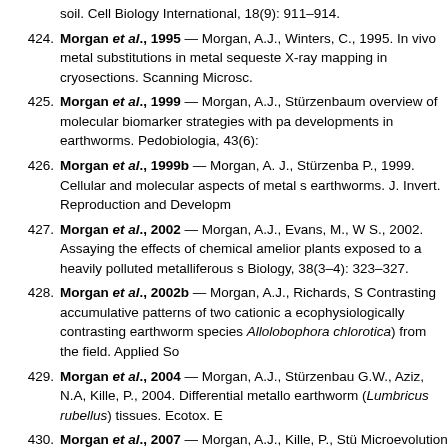soil. Cell Biology International, 18(9): 911–914.
424. Morgan et al., 1995 — Morgan, A.J., Winters, C., 1995. In vivo metal substitutions in metal sequeste X-ray mapping in cryosections. Scanning Microsc.
425. Morgan et al., 1999 — Morgan, A.J., Stürzenbau overview of molecular biomarker strategies with pa developments in earthworms. Pedobiologia, 43(6):
426. Morgan et al., 1999b — Morgan, A. J., Stürzenba P., 1999. Cellular and molecular aspects of metal s earthworms. J. Invert. Reproduction and Developm
427. Morgan et al., 2002 — Morgan, A.J., Evans, M., W S., 2002. Assaying the effects of chemical amelior plants exposed to a heavily polluted metalliferous s Biology, 38(3–4): 323–327.
428. Morgan et al., 2002b — Morgan, A.J., Richards, S Contrasting accumulative patterns of two cationic a ecophysiologically contrasting earthworm species Allolobophora chlorotica) from the field. Applied So
429. Morgan et al., 2004 — Morgan, A.J., Stürzenbau G.W., Aziz, N.A, Kille, P., 2004. Differential metallo earthworm (Lumbricus rubellus) tissues. Ecotox. E
430. Morgan et al., 2007 — Morgan, A.J., Kille, P., Stü Microevolution and ecotoxicology of metals in inve